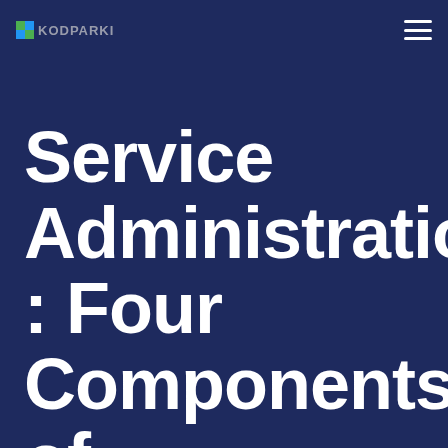KODPARKI
Service Administration: Four Components of